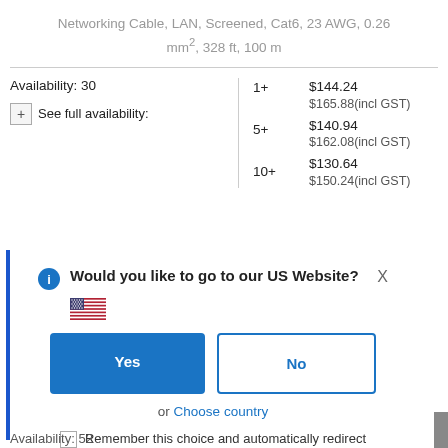Networking Cable, LAN, Screened, Cat6, 23 AWG, 0.26 mm², 328 ft, 100 m
|  | Qty | Price |
| --- | --- | --- |
| Availability: 30 | 1+ | $144.24
$165.88(incl GST) |
| See full availability: | 5+ | $140.94
$162.08(incl GST) |
|  | 10+ | $130.64
$150.24(incl GST) |
[Figure (screenshot): Modal dialog overlay asking 'Would you like to go to our US Website?' with Yes/No buttons, US flag emoji, 'or Choose country' text, and a checkbox for 'Remember this choice and automatically redirect me in the future'. There is a blue vertical bar on the left side.]
Availability: 52